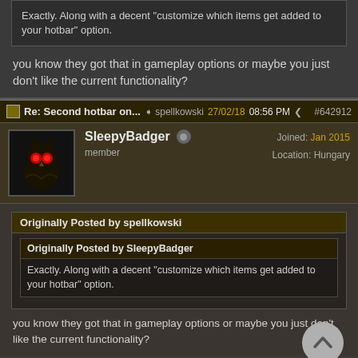Exactly. Along with a decent "customize which items get added to your hotbar" option.
you know they got that in gameplay options or maybe you just don't like the current functionality?
Re: Second hotbar on... spellkowski 27/02/18 08:56 PM #642912
SleepyBadger
member
Joined: Jan 2015
Location: Hungary
Originally Posted by spellkowski
Originally Posted by SleepyBadger
Exactly. Along with a decent "customize which items get added to your hotbar" option.
you know they got that in gameplay options or maybe you just don't like the current functionality?